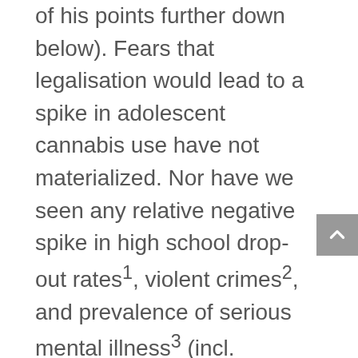of his points further down below). Fears that legalisation would lead to a spike in adolescent cannabis use have not materialized. Nor have we seen any relative negative spike in high school drop-out rates¹, violent crimes², and prevalence of serious mental illness³ (incl. schizophrenia). In other words, the Colorado sky has not fallen.

On the contrary, according to a recent survey conducted by YouGov, the vast majority of